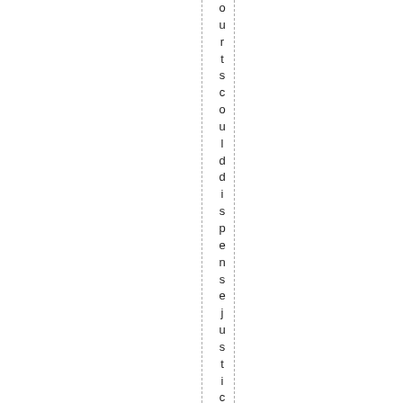o u r t s c o u l d d i s p e n s e j u s t i c e w i t h o